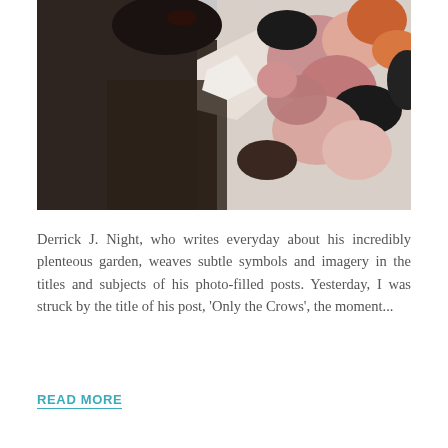[Figure (photo): A person in a dark jacket holding a large colorful bouquet of flowers, photographed close-up. The person's face is partially visible at the top, mouth open. The flowers are vibrant with pink, orange, and red tones against a light background.]
Derrick J. Night, who writes everyday about his incredibly plenteous garden, weaves subtle symbols and imagery in the titles and subjects of his photo-filled posts. Yesterday, I was struck by the title of his post, 'Only the Crows', the moment...
READ MORE